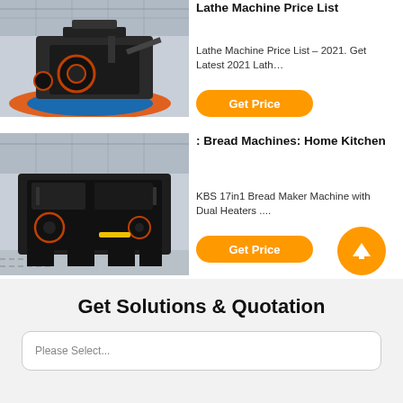[Figure (photo): Industrial crushing/milling machine in a factory setting, black heavy machinery on a circular platform]
Lathe Machine Price List
Lathe Machine Price List – 2021. Get Latest 2021 Lath…
Get Price
[Figure (photo): Large black industrial crushing machine in a factory/warehouse setting]
: Bread Machines: Home Kitchen
KBS 17in1 Bread Maker Machine with Dual Heaters ....
Get Price
Get Solutions & Quotation
Please Select...